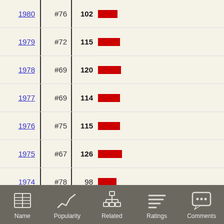| Year | Rank | Score | Bar |
| --- | --- | --- | --- |
| 1980 | #76 | 102 |  |
| 1979 | #72 | 115 |  |
| 1978 | #69 | 120 |  |
| 1977 | #69 | 114 |  |
| 1976 | #75 | 115 |  |
| 1975 | #67 | 126 |  |
| 1974 | #78 | 98 |  |
| 1973 | #77 | 102 |  |
| 1972 | #70 | 118 |  |
| 1971 | #63 | 136 |  |
| 1970 | #69 | 116 |  |
| 1969 | #68 | 143 |  |
| 1968 | #67 | 143 |  |
Name | Popularity | Related | Ratings | Comments